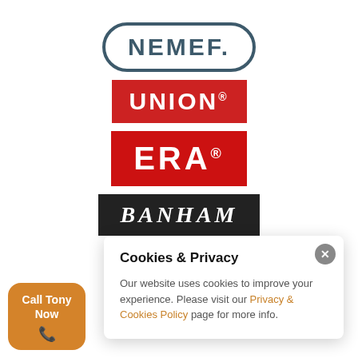[Figure (logo): NEMEF logo - dark teal rounded rectangle border with NEMEF text]
[Figure (logo): UNION logo - red rectangle background with white UNION text]
[Figure (logo): ERA logo - red rectangle background with white ERA text and registered trademark]
[Figure (logo): BANHAM logo - black rectangle background with white italic serif BANHAM text]
[Figure (logo): Mul-T-Lock logo - blue diamond gem icon above faded MUL-T-LOCK text]
Cookies & Privacy
Our website uses cookies to improve your experience. Please visit our Privacy & Cookies Policy page for more info.
Call Tony Now